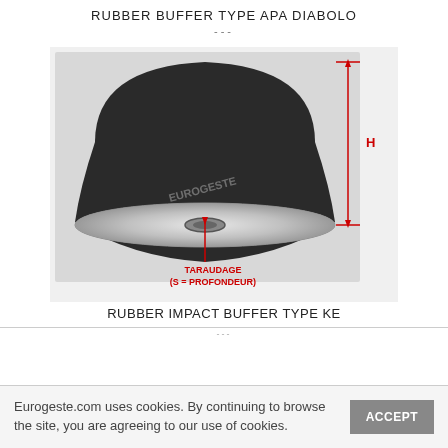RUBBER BUFFER TYPE APA DIABOLO
[Figure (engineering-diagram): Photo of a rubber impact buffer type KE (diabolo shape) showing a black rubber dome with a metal base plate and a threaded insert (taraudage) in the center. Red dimension lines show H (height) on the right side and an arrow pointing to the taraudage. Label reads TARAUDAGE (S = PROFONDEUR) in red text.]
RUBBER IMPACT BUFFER TYPE KE
Eurogeste.com uses cookies. By continuing to browse the site, you are agreeing to our use of cookies.